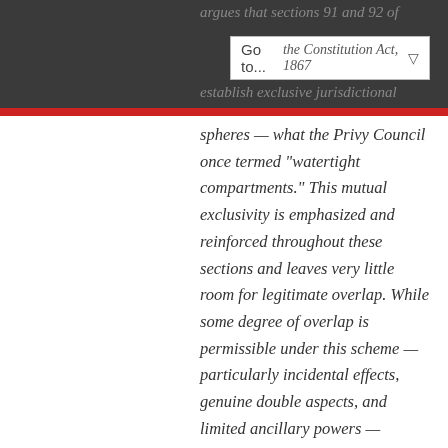argues that sections 91 and 92 of the Constitution Act, 1867 establish exclusive jurisdictional
spheres — what the Privy Council once termed “watertight compartments.” This mutual exclusivity is emphasized and reinforced throughout these sections and leaves very little room for legitimate overlap. While some degree of overlap is permissible under this scheme — particularly incidental effects, genuine double aspects, and limited ancillary powers — overlap must be constrained in a principled fashion to comply with the exclusivity principle. The modern trend toward flexibility and freer overlap is contrary to the constitutional text. The author